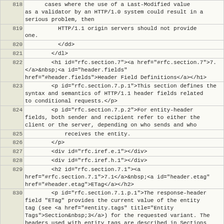| line | code |
| --- | --- |
| 818 |       cases where the use of a Last-Modified value
as a validator by an HTTP/1.0 system could result in a
serious problem, then |
| 819 |           HTTP/1.1 origin servers should not provide
one. |
| 820 |           </dd> |
| 821 |         </dl> |
| 822 |         <h1 id="rfc.section.7"><a href="#rfc.section.7">7.
</a>&nbsp;<a id="header.fields"
href="#header.fields">Header Field Definitions</a></h1> |
| 823 |         <p id="rfc.section.7.p.1">This section defines the
syntax and semantics of HTTP/1.1 header fields related
to conditional requests.</p> |
| 824 |         <p id="rfc.section.7.p.2">For entity-header
fields, both sender and recipient refer to either the
client or the server, depending on who sends and who |
| 825 |             receives the entity. |
| 826 |         </p> |
| 827 |         <div id="rfc.iref.e.1"></div> |
| 828 |         <div id="rfc.iref.h.1"></div> |
| 829 |         <h2 id="rfc.section.7.1"><a
href="#rfc.section.7.1">7.1</a>&nbsp;<a id="header.etag"
href="#header.etag">ETag</a></h2> |
| 830 |         <p id="rfc.section.7.1.p.1">The response-header
field "ETag" provides the current value of the entity
tag (see <a href="#entity.tags" title="Entity
Tags">Section&nbsp;3</a>) for the requested variant. The
headers used with entity tags are described in Sections
<a href="#header.if-match" id="rfc.xref.header.if-
match.2" title="If-Match">7.2</a> and <a
href="#header.if-none-match" id="rfc.xref.header.if-
none-match.2" title="If-None-Match">7.4</a> of this
document, and in <a href="p5-range.html#header.if-range"
title="If-Range">Section 6.3</a> of <a href="#Part5"
id="rfc.xref.Part5.4"><cite title="HTTP/1.1, part 5:
Range Requests and Partial Responses">[Part5]</cite> |